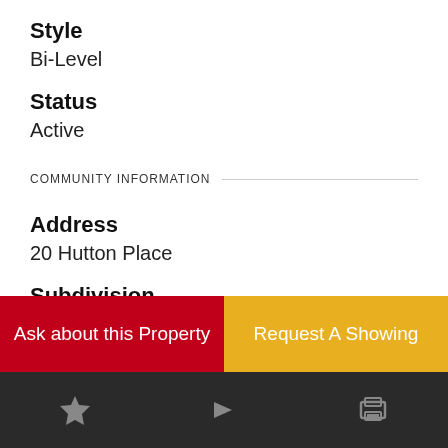Style
Bi-Level
Status
Active
COMMUNITY INFORMATION
Address
20 Hutton Place
Subdivision
Hawkridge Estates
Cit
Ask about this Property
Request A Showing